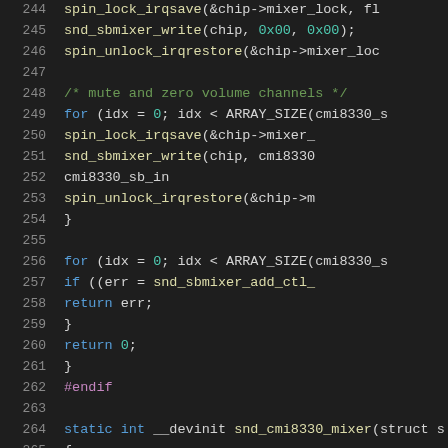[Figure (screenshot): Source code listing showing C code lines 244-265, with syntax highlighting on dark background. Lines show mixer initialization code including spin_lock_irqsave, snd_sbmixer_write, spin_unlock_irqrestore, for loops with ARRAY_SIZE, snd_sbmixer_add_ctl, return statements, #endif preprocessor directive, and static int __devinit snd_cmi8330_mixer function definition.]